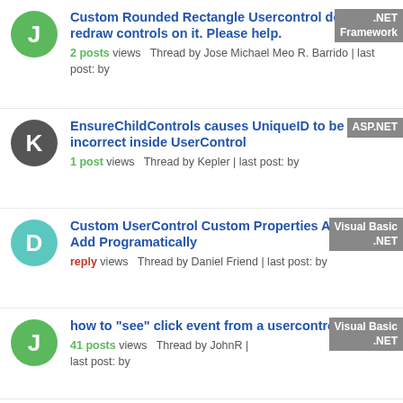Custom Rounded Rectangle Usercontrol does not redraw controls on it. Please help. 2 posts views Thread by Jose Michael Meo R. Barrido | last post: by [tag: .NET Framework]
EnsureChildControls causes UniqueID to be incorrect inside UserControl 1 post views Thread by Kepler | last post: by [tag: ASP.NET]
Custom UserControl Custom Properties After You Add Programatically reply views Thread by Daniel Friend | last post: by [tag: Visual Basic .NET]
how to "see" click event from a usercontrol 41 posts views Thread by JohnR | last post: by [tag: Visual Basic .NET]